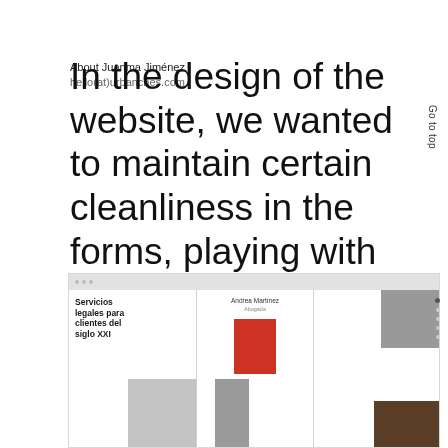About Juanma Jiménez
hello(at)urbanches.com
In the design of the website, we wanted to maintain certain cleanliness in the forms, playing with the white spaces and corporate colors. We need to give that more technological and trustworthy air.
Go to top
[Figure (screenshot): Three website screenshot panels showing a legal services website. Left panel: 'Servicios legales para clientes del siglo XXI' with a grey image. Middle panel: name/title block with red box and woman figure. Right panel: text with person portrait and dark wood image.]